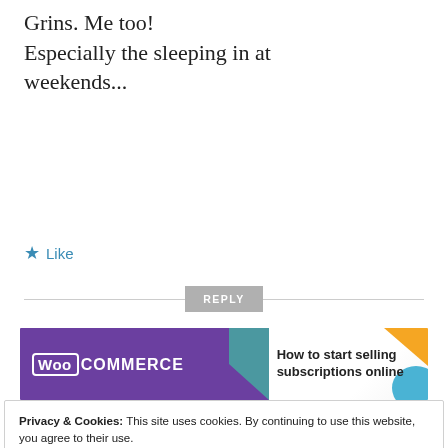Grins. Me too! Especially the sleeping in at weekends...
★ Like
REPLY
[Figure (other): WooCommerce banner ad: purple background with WooCommerce logo on left, text 'How to start selling subscriptions online' on right with orange and blue decorative corners.]
REPORT THIS AD
Privacy & Cookies: This site uses cookies. By continuing to use this website, you agree to their use.
To find out more, including how to control cookies, see here: Cookie Policy
Close and accept